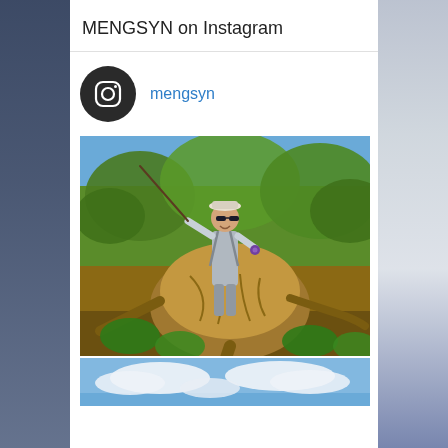MENGSYN on Instagram
mengsyn
[Figure (photo): Person wearing sunglasses, cap, waders and fishing gear, posing and smiling in front of a large tree stump or root ball in a sunny, leafy outdoor setting]
[Figure (photo): Blue sky with white clouds, partial view at bottom of page]